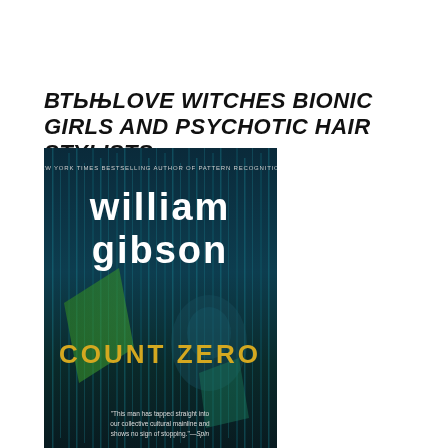вТЬЊLOVE WITCHES BIONIC GIRLS AND PSYCHOTIC HAIR STYLISTS
[Figure (photo): Book cover of 'Count Zero' by William Gibson. Dark teal/blue background with vertical streaks suggesting digital rain or a matrix-style environment. Author name 'william gibson' in large white lowercase letters at top. 'COUNT ZERO' in large golden/yellow letters in the middle-lower area. Top reads 'NEW YORK TIMES BESTSELLING AUTHOR OF PATTERN RECOGNITION'. Bottom quote: '"This man has tapped straight into our collective cultural mainline and shows no sign of stopping." —Spin'. A ghostly face and green geometric shapes are visible in the background.]